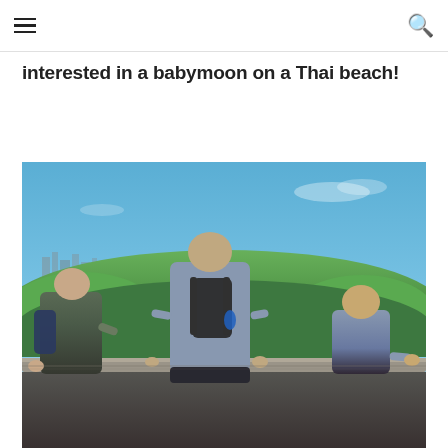navigation header with hamburger menu and search icon
interested in a babymoon on a Thai beach!
[Figure (photo): Three people viewed from behind, standing at a low stone wall or railing, looking out over a green landscape with a city skyline in the distance under a blue sky. The central figure is tallest and wears a grey t-shirt with a large backpack. Left figure wears a dark top with a navy backpack. Right figure is shorter, wearing a light blue top.]